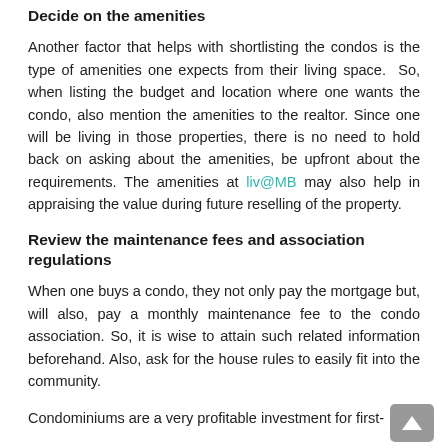Decide on the amenities
Another factor that helps with shortlisting the condos is the type of amenities one expects from their living space.  So, when listing the budget and location where one wants the condo, also mention the amenities to the realtor. Since one will be living in those properties, there is no need to hold back on asking about the amenities, be upfront about the requirements. The amenities at liv@MB may also help in appraising the value during future reselling of the property.
Review the maintenance fees and association regulations
When one buys a condo, they not only pay the mortgage but, will also, pay a monthly maintenance fee to the condo association. So, it is wise to attain such related information beforehand. Also, ask for the house rules to easily fit into the community.
Condominiums are a very profitable investment for first-